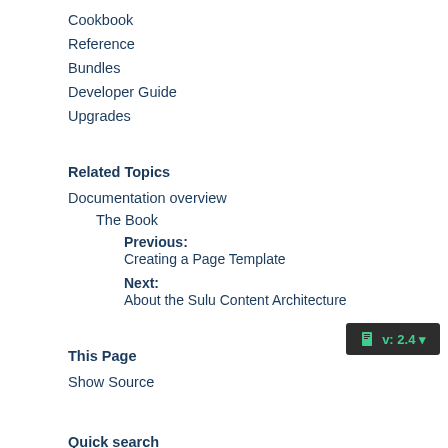Cookbook
Reference
Bundles
Developer Guide
Upgrades
Related Topics
Documentation overview
The Book
Previous: Creating a Page Template
Next: About the Sulu Content Architecture
This Page
Show Source
Quick search